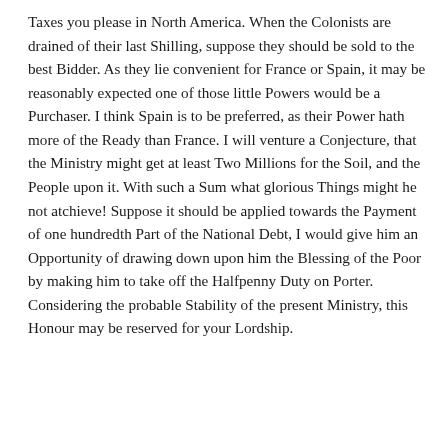Taxes you please in North America. When the Colonists are drained of their last Shilling, suppose they should be sold to the best Bidder. As they lie convenient for France or Spain, it may be reasonably expected one of those little Powers would be a Purchaser. I think Spain is to be preferred, as their Power hath more of the Ready than France. I will venture a Conjecture, that the Ministry might get at least Two Millions for the Soil, and the People upon it. With such a Sum what glorious Things might he not atchieve! Suppose it should be applied towards the Payment of one hundredth Part of the National Debt, I would give him an Opportunity of drawing down upon him the Blessing of the Poor by making him to take off the Halfpenny Duty on Porter. Considering the probable Stability of the present Ministry, this Honour may be reserved for your Lordship.